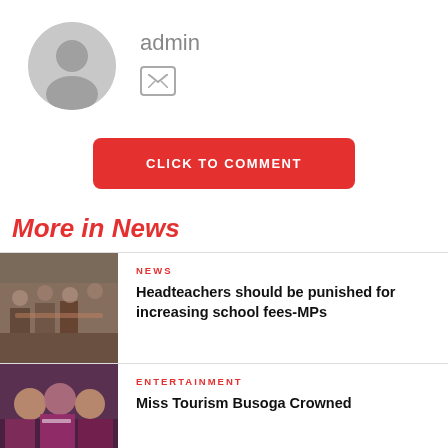[Figure (illustration): Gray circular avatar placeholder with silhouette of a person]
admin
[Figure (other): Mail/envelope icon in a rounded rectangle border]
CLICK TO COMMENT
More in News
[Figure (photo): Photo of people sitting around a conference table in a meeting room]
NEWS
Headteachers should be punished for increasing school fees-MPs
[Figure (photo): Photo of three women dressed up, appearing to be at a beauty pageant or similar event]
ENTERTAINMENT
Miss Tourism Busoga Crowned